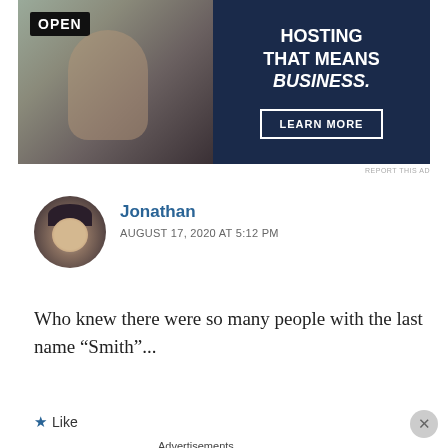[Figure (photo): Ad banner showing a person holding an OPEN sign on the left, and dark navy background on the right with text 'HOSTING THAT MEANS BUSINESS.' and a LEARN MORE button.]
REPORT THIS AD
Jonathan
AUGUST 17, 2020 AT 5:12 PM
Who knew there were so many people with the last name “Smith”...
Like
Advertisements
[Figure (photo): Ad banner for DayOne app with cyan/teal background. Shows phone screenshot, text 'Your Journal for life' and DayOne logo.]